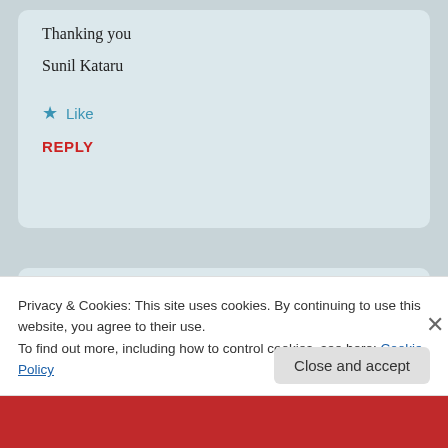Thanking you

Sunil Kataru
★ Like
REPLY
KDSVSRK   March 20, 2017 — 2:18 pm
Privacy & Cookies: This site uses cookies. By continuing to use this website, you agree to their use.
To find out more, including how to control cookies, see here: Cookie Policy
Close and accept